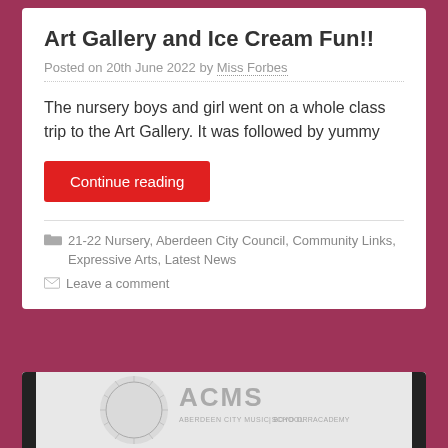Art Gallery and Ice Cream Fun!!
Posted on 20th June 2022 by Miss Forbes
The nursery boys and girl went on a whole class trip to the Art Gallery. It was followed by yummy
Continue reading
21-22 Nursery, Aberdeen City Council, Community Links, Expressive Arts, Latest News
Leave a comment
[Figure (logo): Aberdeen City Music School logo with circular decorative design, flanked by vertical black bars on each side]